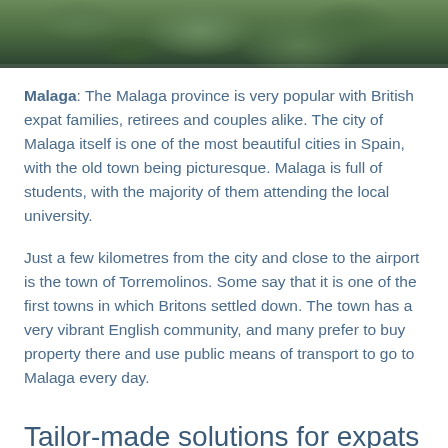[Figure (photo): Aerial or close-up photograph of dense green trees/forest canopy, likely in Spain]
Malaga: The Malaga province is very popular with British expat families, retirees and couples alike. The city of Malaga itself is one of the most beautiful cities in Spain, with the old town being picturesque. Malaga is full of students, with the majority of them attending the local university.
Just a few kilometres from the city and close to the airport is the town of Torremolinos. Some say that it is one of the first towns in which Britons settled down. The town has a very vibrant English community, and many prefer to buy property there and use public means of transport to go to Malaga every day.
Tailor-made solutions for expats